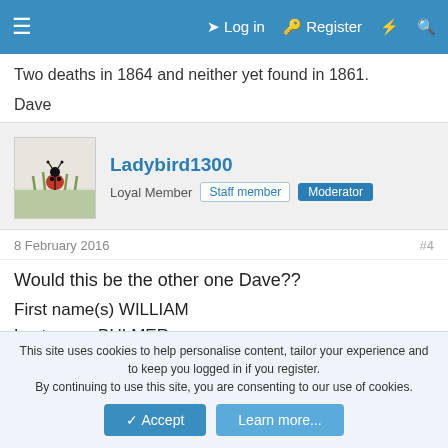☰  ➔ Log in  🔑 Register  ⚡ 🔍
Two deaths in 1864 and neither yet found in 1861.
Dave
Ladybird1300
Loyal Member  Staff member  Moderator
8 February 2016  #4
Would this be the other one Dave??
First name(s) WILLIAM
Last name BULMER
Birth year 1778
Death year 1864
This site uses cookies to help personalise content, tailor your experience and to keep you logged in if you register.
By continuing to use this site, you are consenting to our use of cookies.
[Accept]  [Learn more...]